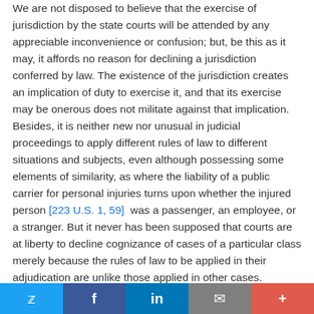We are not disposed to believe that the exercise of jurisdiction by the state courts will be attended by any appreciable inconvenience or confusion; but, be this as it may, it affords no reason for declining a jurisdiction conferred by law. The existence of the jurisdiction creates an implication of duty to exercise it, and that its exercise may be onerous does not militate against that implication. Besides, it is neither new nor unusual in judicial proceedings to apply different rules of law to different situations and subjects, even although possessing some elements of similarity, as where the liability of a public carrier for personal injuries turns upon whether the injured person [223 U.S. 1, 59]  was a passenger, an employee, or a stranger. But it never has been supposed that courts are at liberty to decline cognizance of cases of a particular class merely because the rules of law to be applied in their adjudication are unlike those applied in other cases.
Twitter | Facebook | LinkedIn | Email | More